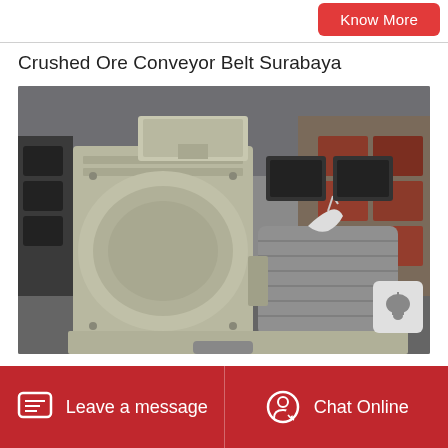Know More
Crushed Ore Conveyor Belt Surabaya
[Figure (photo): Industrial ore crusher / hammer mill machine in a factory warehouse setting. The machine is painted silver/light grey with a large housing body, motor attached on the right side wrapped in grey protective covering with white ties. Background shows stacked red/brown crates and other industrial equipment.]
Leave a message
Chat Online